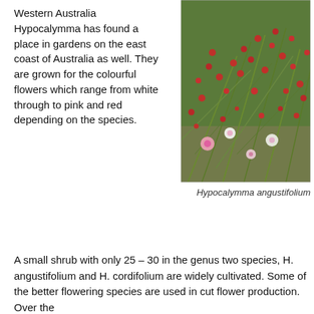Western Australia Hypocalymma has found a place in gardens on the east coast of Australia as well. They are grown for the colourful flowers which range from white through to pink and red depending on the species.
[Figure (photo): Close-up photograph of Hypocalymma angustifolium showing small pink and white flowers among green needle-like foliage with red buds]
Hypocalymma angustifolium
A small shrub with only 25 – 30 in the genus two species, H. angustifolium and H. cordifolium are widely cultivated. Some of the better flowering species are used in cut flower production. Over the